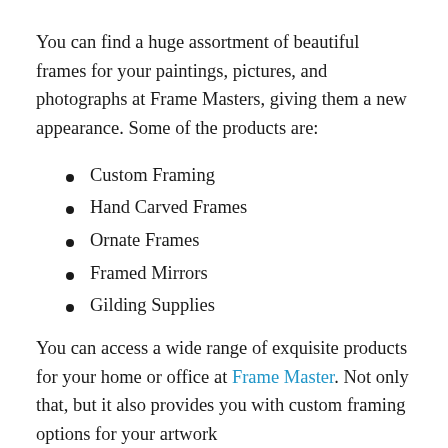You can find a huge assortment of beautiful frames for your paintings, pictures, and photographs at Frame Masters, giving them a new appearance. Some of the products are:
Custom Framing
Hand Carved Frames
Ornate Frames
Framed Mirrors
Gilding Supplies
You can access a wide range of exquisite products for your home or office at Frame Master. Not only that, but it also provides you with custom framing options for your artwork